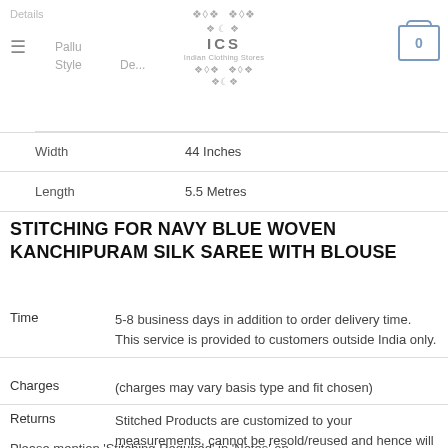Details | Pallu Style | ICS Indian Clothing Stores
| Attribute | Value |
| --- | --- |
| Width | 44 Inches |
| Length | 5.5 Metres |
STITCHING FOR NAVY BLUE WOVEN KANCHIPURAM SILK SAREE WITH BLOUSE
Time: 5-8 business days in addition to order delivery time. This service is provided to customers outside India only.
Charges: (charges may vary basis type and fit chosen)
Returns: Stitched Products are customized to your measurements, cannot be resold/reused and hence will not be eligible for returns/refunds.
Please mention 'Stitching Required' in 'Notes' on